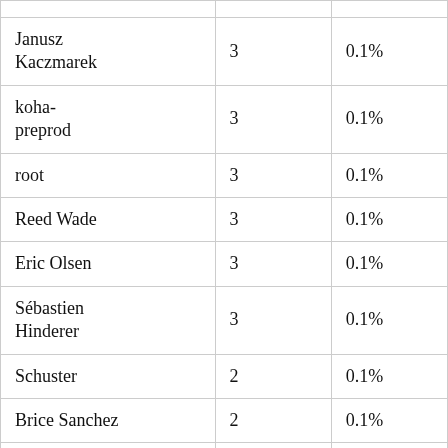| Janusz Kaczmarek | 3 | 0.1% |
| koha-preprod | 3 | 0.1% |
| root | 3 | 0.1% |
| Reed Wade | 3 | 0.1% |
| Eric Olsen | 3 | 0.1% |
| Sébastien Hinderer | 3 | 0.1% |
| Schuster | 2 | 0.1% |
| Brice Sanchez | 2 | 0.1% |